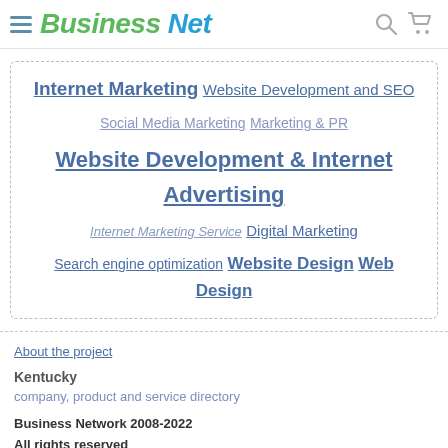Business Net
Internet Marketing  Website Development and SEO  Social Media Marketing  Marketing & PR  Website Development & Internet Advertising  Internet Marketing Service  Digital Marketing  Search engine optimization  Website Design  Web Design
About the project
Kentucky
company, product and service directory
Business Network 2008-2022
All rights reserved